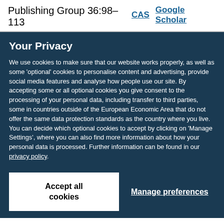Publishing Group 36:98–113
CAS   Google Scholar
Your Privacy
We use cookies to make sure that our website works properly, as well as some 'optional' cookies to personalise content and advertising, provide social media features and analyse how people use our site. By accepting some or all optional cookies you give consent to the processing of your personal data, including transfer to third parties, some in countries outside of the European Economic Area that do not offer the same data protection standards as the country where you live. You can decide which optional cookies to accept by clicking on 'Manage Settings', where you can also find more information about how your personal data is processed. Further information can be found in our privacy policy.
Accept all cookies
Manage preferences